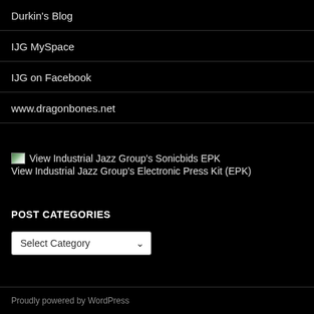Durkin's Blog
IJG MySpace
IJG on Facebook
www.dragonbones.net
[Figure (other): Small thumbnail image icon for Sonicbids EPK link]
View Industrial Jazz Group's Sonicbids EPK
View Industrial Jazz Group's Electronic Press Kit (EPK)
POST CATEGORIES
Select Category
Proudly powered by WordPress